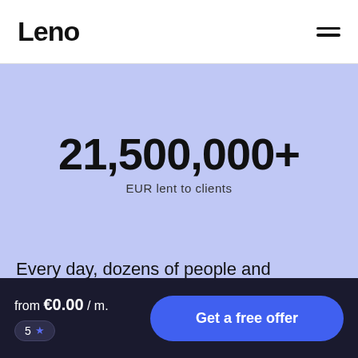Leno
21,500,000+
EUR lent to clients
Every day, dozens of people and businesses apply for a mortgage-backed loan from Leno.
from €0.00 / m. 5 ★
Get a free offer